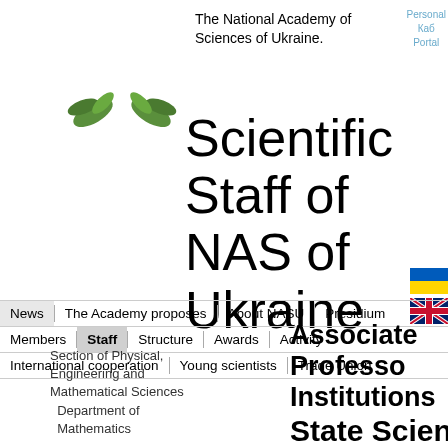The National Academy of Sciences of Ukraine.
Personal Cabinet Portal
[Figure (logo): Green leaf/wing decorative logo of NAS of Ukraine]
Scientific Staff of NAS of Ukraine
[Figure (illustration): Ukrainian flag (blue and yellow) and British flag icons]
News | The Academy proposes | About NASU | Presidium | Members | Staff | Structure | Awards | Activity | International cooperation | Young scientists | Trade Union
Section of Physical, Engineering and Mathematical Sciences Department of Mathematics
Associate Professor Institutions State Scientific